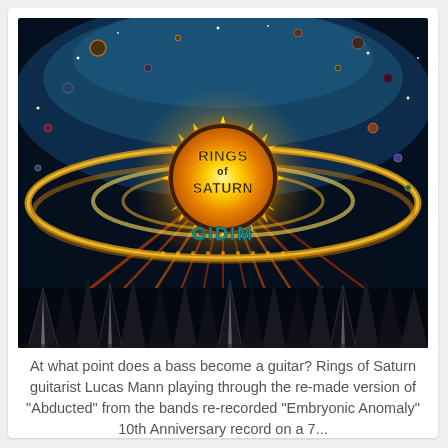[Figure (illustration): Album cover art for 'Rings of Saturn - Gidim'. Psychedelic cosmic artwork featuring a large glowing golden sun-like burst in the center with the band name 'Rings of Saturn' written in stylized gold/black letters, surrounded by orbital rings. Below the sun text reads 'Gidim' in teal letters. The background features colorful cosmic elements, planets, and at the bottom dark spire-like shapes on a black and white base.]
At what point does a bass become a guitar? Rings of Saturn guitarist Lucas Mann playing through the re-made version of "Abducted" from the bands re-recorded "Embryonic Anomaly" 10th Anniversary record on a 7...